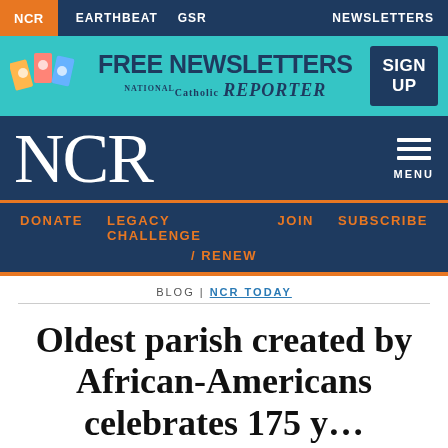NCR  EARTHBEAT  GSR  NEWSLETTERS
[Figure (infographic): FREE NEWSLETTERS ad banner with National Catholic Reporter logo and SIGN UP button]
NCR
MENU
DONATE  LEGACY CHALLENGE  JOIN  SUBSCRIBE / RENEW
BLOG | NCR TODAY
Oldest parish created by African-Americans celebrates 175...